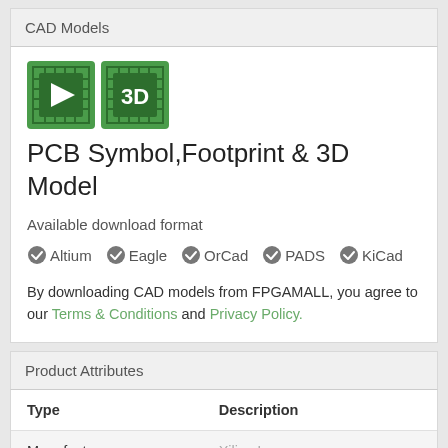CAD Models
[Figure (logo): PCB Symbol icon (green chip icon) and 3D icon (green 3D text on chip)]
PCB Symbol,Footprint & 3D Model
Available download format
✔ Altium  ✔ Eagle  ✔ OrCad  ✔ PADS  ✔ KiCad
By downloading CAD models from FPGAMALL, you agree to our Terms & Conditions and Privacy Policy.
Product Attributes
| Type | Description |
| --- | --- |
| Manufacturer | Xilinx Inc. |